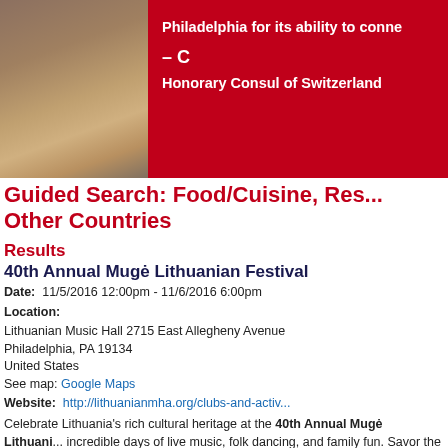[Figure (photo): Banner image with a photo of a landscape/natural scene on the left and a red background with white text on the right. Text reads: 'Philadelphia for its ability to conne' and '- C' and 'Honorary Consul of Switzerland']
Guided Search: Food/Cuisine, Res... Other Countries
Results
40th Annual Mugė Lithuanian Festival
Date: 11/5/2016 12:00pm - 11/6/2016 6:00pm
Location:
Lithuanian Music Hall 2715 East Allegheny Avenue
Philadelphia, PA 19134
United States
See map: Google Maps
Website: http://lithuanianmha.org/clubs-and-activ...
Celebrate Lithuania's rich cultural heritage at the 40th Annual Mugė Lithuani... incredible days of live music, folk dancing, and family fun. Savor the tastes of l... balandėliai, kugelis, fried bread, and the world's best potato pancakes! Sip Lith... and Kalnapilis.